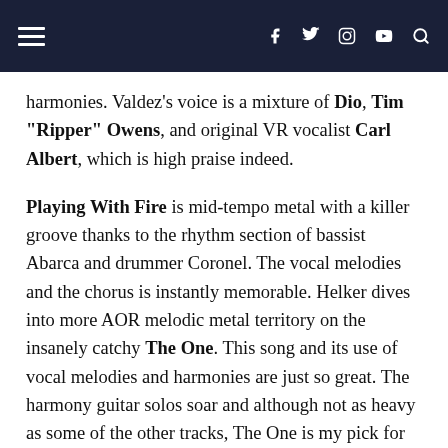Navigation bar with hamburger menu, social icons (Facebook, Twitter, Instagram, YouTube) and search
harmonies. Valdez's voice is a mixture of Dio, Tim “Ripper” Owens, and original VR vocalist Carl Albert, which is high praise indeed.
Playing With Fire is mid-tempo metal with a killer groove thanks to the rhythm section of bassist Abarca and drummer Coronel. The vocal melodies and the chorus is instantly memorable. Helker dives into more AOR melodic metal territory on the insanely catchy The One. This song and its use of vocal melodies and harmonies are just so great. The harmony guitar solos soar and although not as heavy as some of the other tracks, The One is my pick for best song on